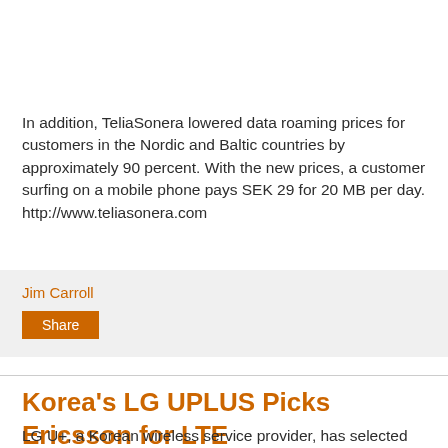In addition, TeliaSonera lowered data roaming prices for customers in the Nordic and Baltic countries by approximately 90 percent. With the new prices, a customer surfing on a mobile phone pays SEK 29 for 20 MB per day. http://www.teliasonera.com
Jim Carroll
Share
Korea's LG UPLUS Picks Ericsson for LTE
LG U+, a Korean wireless service provider, has selected